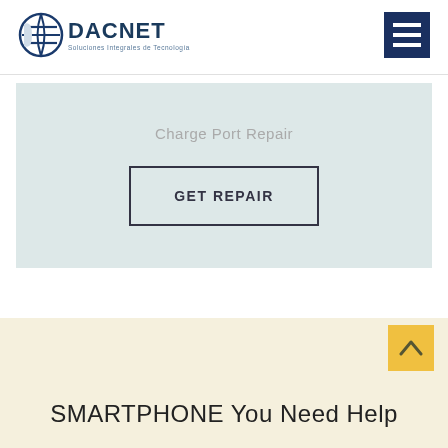[Figure (logo): DACNET logo with circular globe icon and tagline 'Soluciones Integrales de Tecnología']
[Figure (other): Hamburger menu icon (three horizontal lines) in dark navy blue square]
Charge Port Repair
GET REPAIR
[Figure (other): Scroll-to-top arrow button in yellow/gold color]
SMARTPHONE  You Need Help